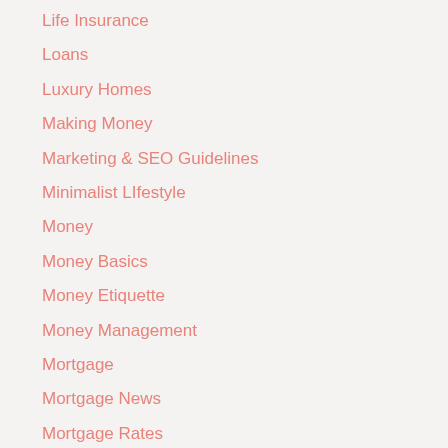Life Insurance
Loans
Luxury Homes
Making Money
Marketing & SEO Guidelines
Minimalist LIfestyle
Money
Money Basics
Money Etiquette
Money Management
Mortgage
Mortgage News
Mortgage Rates
Mortgage Tips